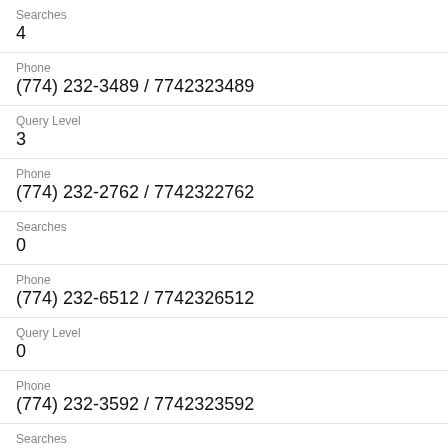Searches
4
Phone
(774) 232-3489 / 7742323489
Query Level
3
Phone
(774) 232-2762 / 7742322762
Searches
0
Phone
(774) 232-6512 / 7742326512
Query Level
0
Phone
(774) 232-3592 / 7742323592
Searches
0
Phone